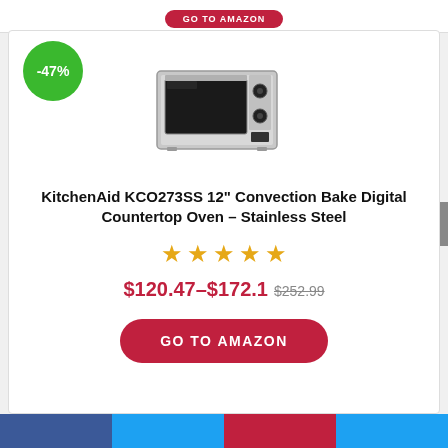[Figure (other): Red GO TO AMAZON button (partially visible at top)]
[Figure (photo): KitchenAid KCO273SS stainless steel countertop convection oven with -47% green discount badge]
KitchenAid KCO273SS 12" Convection Bake Digital Countertop Oven – Stainless Steel
[Figure (other): 5 orange stars rating]
$120.47–$172.1 $252.99
GO TO AMAZON